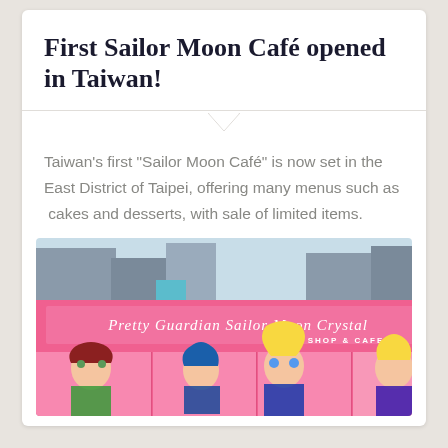First Sailor Moon Café opened in Taiwan!
Taiwan's first "Sailor Moon Café" is now set in the East District of Taipei, offering many menus such as  cakes and desserts, with sale of limited items.
[Figure (photo): Exterior of the Pretty Guardian Sailor Moon Crystal Shop & Cafe storefront in Taiwan, showing a bright pink facade with the logo text 'Pretty Guardian Sailor Moon Crystal SHOP & CAFE' and anime character artwork of Sailor Moon characters on the windows below.]